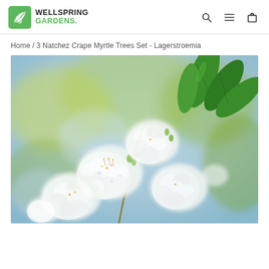Wellspring Gardens — navigation header with search, menu, and cart icons
Home / 3 Natchez Crape Myrtle Trees Set - Lagerstroemia
[Figure (photo): Close-up photograph of white Natchez Crape Myrtle (Lagerstroemia) flowers in bloom with green leaves in the background against a soft blurred sky.]